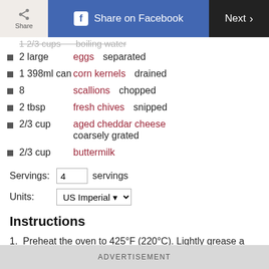Share | Share on Facebook | Next
1 2/3 cups  boiling water
2 large  eggs  separated
1 398ml can  corn kernels  drained
8  scallions  chopped
2 tbsp  fresh chives  snipped
2/3 cup  aged cheddar cheese  coarsely grated
2/3 cup  buttermilk
Servings: 4 servings
Units: US Imperial
Instructions
1. Preheat the oven to 425°F (220°C). Lightly grease a large ovenproof baking dish of about 3 litre capacity, then sprinkle the base and...
ADVERTISEMENT